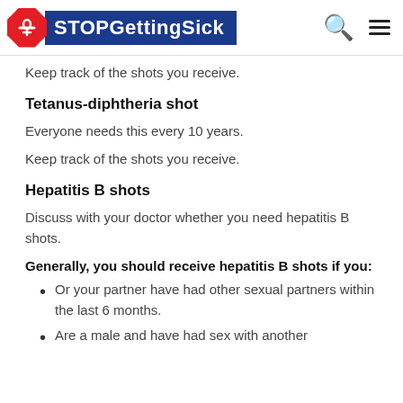STOPGettingSick
Keep track of the shots you receive.
Tetanus-diphtheria shot
Everyone needs this every 10 years.
Keep track of the shots you receive.
Hepatitis B shots
Discuss with your doctor whether you need hepatitis B shots.
Generally, you should receive hepatitis B shots if you:
Or your partner have had other sexual partners within the last 6 months.
Are a male and have had sex with another